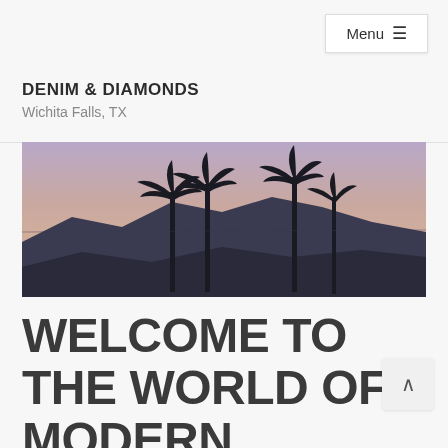Menu ≡
DENIM & DIAMONDS
Wichita Falls, TX
[Figure (photo): Silhouette of tall palm trees against a dusk sky with mountains in the background, warm purple and pink gradient sky]
WELCOME TO THE WORLD OF MODERN FURNITURE FOR A NIGHT